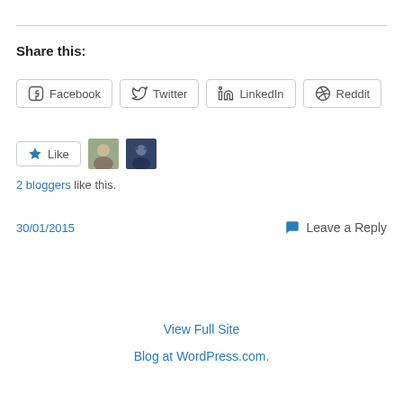Share this:
Facebook  Twitter  LinkedIn  Reddit
[Figure (other): Like button with two blogger avatars]
2 bloggers like this.
30/01/2015   Leave a Reply
View Full Site
Blog at WordPress.com.